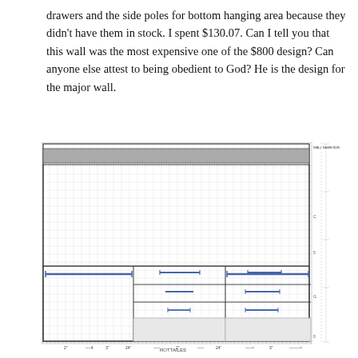drawers and the side poles for bottom hanging area because they didn't have them in stock. I spent $130.07. Can I tell you that this wall was the most expensive one of the $800 design? Can anyone else attest to being obedient to God? He is the design for the major wall.
[Figure (schematic): A closet/wall unit design schematic drawn on graph paper showing a top hanging section (with grey header bar), a large open area below, and a bottom section divided into compartments including drawers, shelves, and hanging areas. Dimension labels appear along the bottom and right side.]